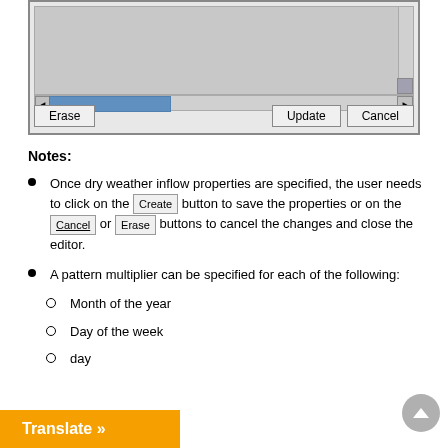[Figure (screenshot): A dialog box UI screenshot showing a scrollable content area with horizontal and vertical scrollbars, and three buttons at the bottom: Erase, Update, and Cancel.]
Notes:
Once dry weather inflow properties are specified, the user needs to click on the Create button to save the properties or on the Cancel or Erase buttons to cancel the changes and close the editor.
A pattern multiplier can be specified for each of the following:
Month of the year
Day of the week
day